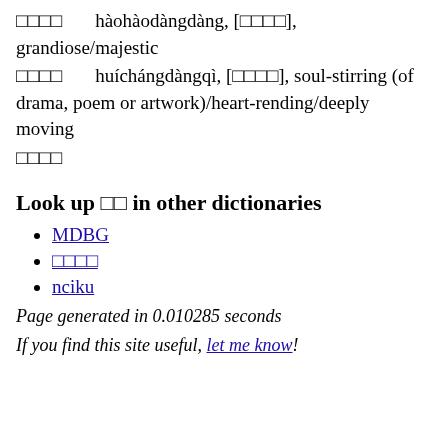□□□□  hàohàodàngdàng, [□□□□], grandiose/majestic
□□□□  huíchángdàngqì, [□□□□], soul-stirring (of drama, poem or artwork)/heart-rending/deeply moving
□□□□
Look up □□ in other dictionaries
MDBG
□□□□
nciku
Page generated in 0.010285 seconds
If you find this site useful, let me know!